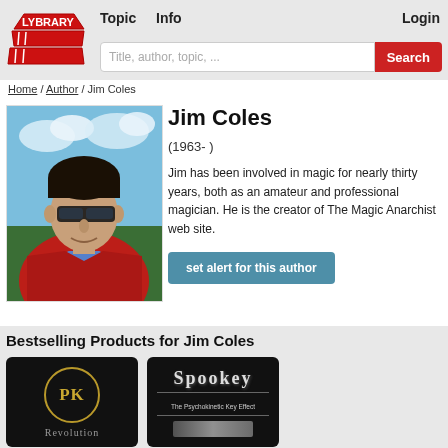Topic  Info  Login  Title, author, topic, ...  Search
Home / Author / Jim Coles
[Figure (photo): Photo of Jim Coles, a man wearing sunglasses and a red jacket, standing outdoors with blue sky and green field in background]
Jim Coles
(1963- )
Jim has been involved in magic for nearly thirty years, both as an amateur and professional magician. He is the creator of The Magic Anarchist web site.
set alert for this author
Bestselling Products for Jim Coles
[Figure (photo): Product image: PK Revolution - black background with gold circle containing PK text]
[Figure (photo): Product image: Spookey - The Psychokinetic Key Effect - black background with gothic text]